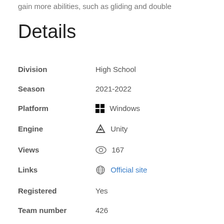gain more abilities, such as gliding and double
Details
| Field | Value |
| --- | --- |
| Division | High School |
| Season | 2021-2022 |
| Platform | Windows |
| Engine | Unity |
| Views | 167 |
| Links | Official site |
| Registered | Yes |
| Team number | 426 |
| Table number | 28 |